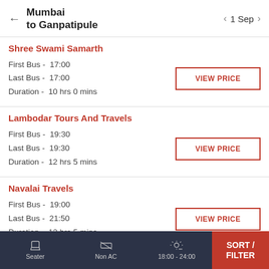Mumbai to Ganpatipule | 1 Sep
Shree Swami Samarth
First Bus - 17:00
Last Bus - 17:00
Duration - 10 hrs 0 mins
Lambodar Tours And Travels
First Bus - 19:30
Last Bus - 19:30
Duration - 12 hrs 5 mins
Navalai Travels
First Bus - 19:00
Last Bus - 21:50
Duration - 12 hrs 5 mins
Seater | Non AC | 18:00 - 24:00 | SORT / FILTER